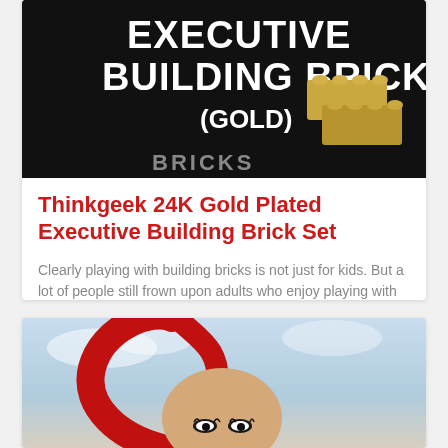[Figure (photo): Product image of Thinkgeek 24K Gold Plated Executive Building Brick Set on a dark background with white text and gold brick graphic]
Thinkgeek 24K Gold Plated Executive Building Brick Set
Clearly playing with building bricks is not just for kids. But a lot of people still frown upon adults who enjoy playing with this simple yet ingeniou…
[Figure (photo): Photo of a person with red hair accessory against a sky background, showing face and dramatic red swooping hair piece]